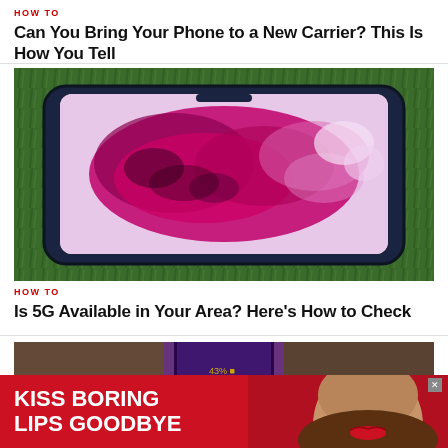HOW TO
Can You Bring Your Phone to a New Carrier? This Is How You Tell
[Figure (photo): A smartphone in a dark case laid flat on green grass, showing a T-Mobile coverage map of the United States in magenta/pink on its screen]
HOW TO
Is 5G Available in Your Area? Here's How to Check
[Figure (photo): Partial view of a phone being held, background cropped]
[Figure (infographic): Macy's advertisement banner with red background. Text: KISS BORING LIPS GOODBYE with SHOP NOW button and Macy's logo with star. Shows a woman's face with red lipstick.]